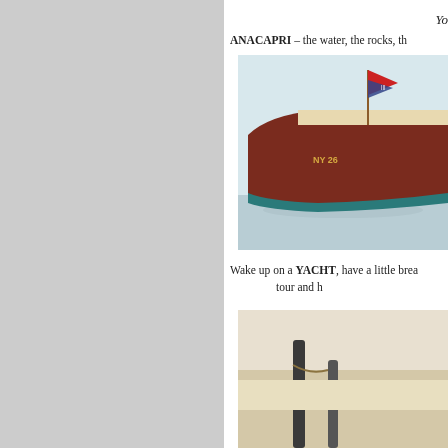[Figure (photo): Left half of page: solid light gray panel]
Yo…
ANACAPRI – the water, the rocks, th…
[Figure (photo): Classic wooden motorboat with registration NY 26… floating on calm water, with a flagpole bearing a red and blue flag]
Wake up on a YACHT, have a little brea… tour and h…
[Figure (photo): Second boat photo, partially visible, showing a dock or another vessel]